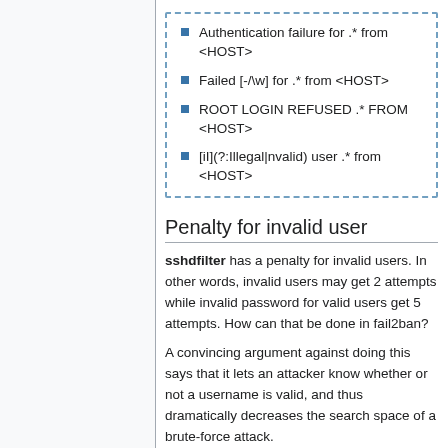Authentication failure for .* from <HOST>
Failed [-/\w] for .* from <HOST>
ROOT LOGIN REFUSED .* FROM <HOST>
[iI](?:Illegal|nvalid) user .* from <HOST>
Penalty for invalid user
sshdfilter has a penalty for invalid users. In other words, invalid users may get 2 attempts while invalid password for valid users get 5 attempts. How can that be done in fail2ban?
A convincing argument against doing this says that it lets an attacker know whether or not a username is valid, and thus dramatically decreases the search space of a brute-force attack.
Category: SSH